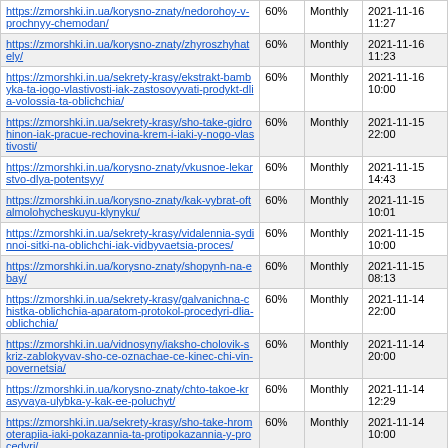| URL | Priority | Frequency | Last Modified |
| --- | --- | --- | --- |
| https://zmorshki.in.ua/korysno-znaty/nedorohoy-v-prochnyy-chemodan/ | 60% | Monthly | 2021-11-16 11:27 |
| https://zmorshki.in.ua/korysno-znaty/zhyroszhyhately/ | 60% | Monthly | 2021-11-16 11:23 |
| https://zmorshki.in.ua/sekrety-krasy/ekstrakt-bambyka-ta-iogo-vlastivosti-iak-zastosovyvati-prodykt-dlia-volossia-ta-oblichchia/ | 60% | Monthly | 2021-11-16 10:00 |
| https://zmorshki.in.ua/sekrety-krasy/sho-take-gidrohinon-iak-pracue-rechovina-krem-i-iaki-y-nogo-vlastivosti/ | 60% | Monthly | 2021-11-15 22:00 |
| https://zmorshki.in.ua/korysno-znaty/vkusnoe-lekarstvo-dlya-potentsyy/ | 60% | Monthly | 2021-11-15 14:43 |
| https://zmorshki.in.ua/korysno-znaty/kak-vybrat-oftalmolohycheskuyu-klynyku/ | 60% | Monthly | 2021-11-15 10:01 |
| https://zmorshki.in.ua/sekrety-krasy/vidalennia-sydinnoi-sitki-na-oblichchi-iak-vidbyvaetsia-proces/ | 60% | Monthly | 2021-11-15 10:00 |
| https://zmorshki.in.ua/korysno-znaty/shopynh-na-ebay/ | 60% | Monthly | 2021-11-15 08:13 |
| https://zmorshki.in.ua/sekrety-krasy/galvanichna-chistka-oblichchia-aparatom-protokol-procedyri-dlia-oblichchia/ | 60% | Monthly | 2021-11-14 22:00 |
| https://zmorshki.in.ua/vidnosyny/iaksho-cholovik-skriz-zablokyvav-sho-ce-oznachae-ce-kinec-chi-vin-povernetsia/ | 60% | Monthly | 2021-11-14 20:00 |
| https://zmorshki.in.ua/korysno-znaty/chto-takoe-krasyvaya-ulybka-y-kak-ee-poluchyt/ | 60% | Monthly | 2021-11-14 12:29 |
| https://zmorshki.in.ua/sekrety-krasy/sho-take-hromoterapiia-iaki-pokazannia-ta-protipokazannia-y-procedyri/ | 60% | Monthly | 2021-11-14 10:00 |
| https://zmorshki.in.ua/vidnosyny/vidnosini-cholovika-ta-jinki-ne-rozvivautsia-i-... | 60% | Monthly | 2021-11-14 09:00 |